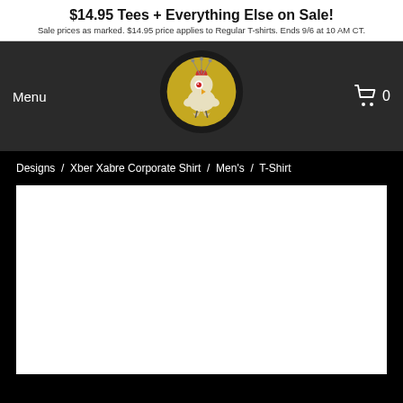$14.95 Tees + Everything Else on Sale! Sale prices as marked. $14.95 price applies to Regular T-shirts. Ends 9/6 at 10 AM CT.
Menu
[Figure (logo): Cartoon rooster/chicken mascot logo in a golden/olive circle with a dark serrated border]
0
Designs / Xber Xabre Corporate Shirt / Men's / T-Shirt
[Figure (photo): White product image display area (blank/loading)]